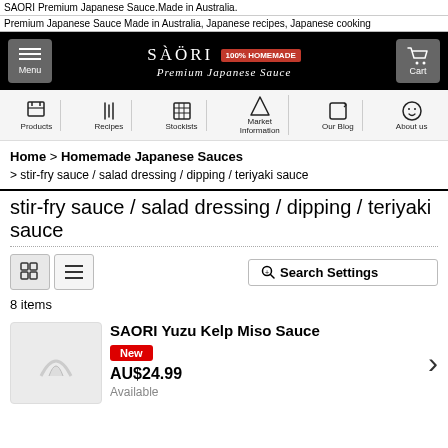SAORI Premium Japanese Sauce.Made in Australia.
Premium Japanese Sauce Made in Australia, Japanese recipes, Japanese cooking
[Figure (logo): SAORI 100% HOMEMADE Premium Japanese Sauce navigation header with Menu and Cart buttons]
[Figure (infographic): Icon navigation bar with Products, Recipes, Stockists, Market Information, Our Blog, About us]
Home > Homemade Japanese Sauces > stir-fry sauce / salad dressing / dipping / teriyaki sauce
stir-fry sauce / salad dressing / dipping / teriyaki sauce
8 items
SAORI Yuzu Kelp Miso Sauce
New
AU$24.99
Available